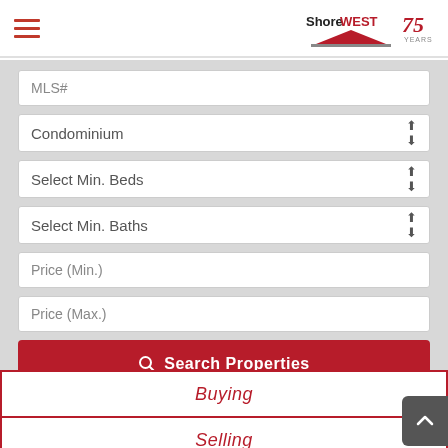ShoreWEST 75 YEARS
MLS#
Condominium
Select Min. Beds
Select Min. Baths
Price (Min.)
Price (Max.)
Search Properties
Buying
Selling